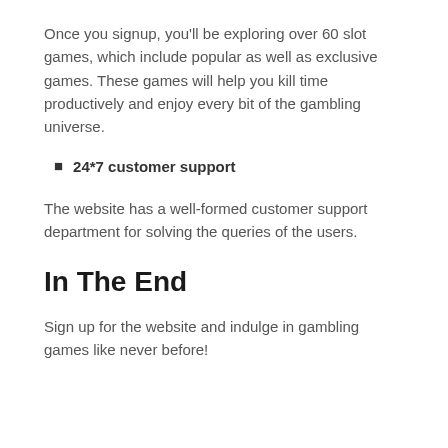Once you signup, you'll be exploring over 60 slot games, which include popular as well as exclusive games. These games will help you kill time productively and enjoy every bit of the gambling universe.
24*7 customer support
The website has a well-formed customer support department for solving the queries of the users.
In The End
Sign up for the website and indulge in gambling games like never before!